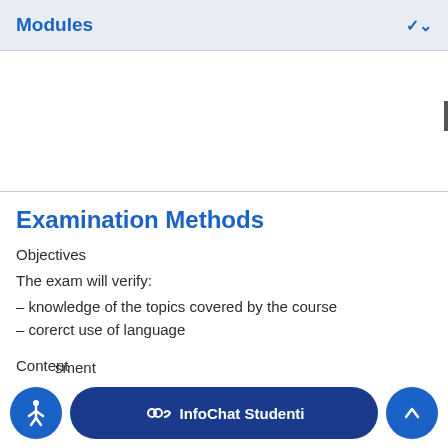Modules
Examination Methods
Objectives
The exam will verify:
– knowledge of the topics covered by the course
– corerct use of language
Content
The exam focuses on the topics covered by the course.
sment
Written test: 10 closed-ended questions and 2 open-ended